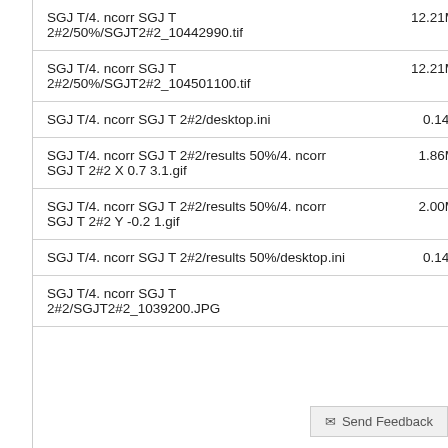| Filename | Size |
| --- | --- |
| SGJ T/4. ncorr SGJ T 2#2/50%/SGJT2#2_10442990.tif | 12.21MB |
| SGJ T/4. ncorr SGJ T 2#2/50%/SGJT2#2_104501100.tif | 12.21MB |
| SGJ T/4. ncorr SGJ T 2#2/desktop.ini | 0.14kB |
| SGJ T/4. ncorr SGJ T 2#2/results 50%/4. ncorr SGJ T 2#2 X 0.7 3.1.gif | 1.86MB |
| SGJ T/4. ncorr SGJ T 2#2/results 50%/4. ncorr SGJ T 2#2 Y -0.2 1.gif | 2.00MB |
| SGJ T/4. ncorr SGJ T 2#2/results 50%/desktop.ini | 0.14kB |
| SGJ T/4. ncorr SGJ T 2#2/SGJT2#2_1039200.JPG |  |